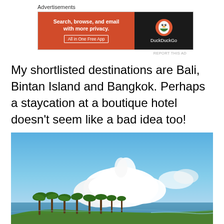Advertisements
[Figure (screenshot): DuckDuckGo advertisement banner: orange left side with text 'Search, browse, and email with more privacy. All in One Free App' and dark right side with DuckDuckGo logo]
REPORT THIS AD
My shortlisted destinations are Bali, Bintan Island and Bangkok. Perhaps a staycation at a boutique hotel doesn't seem like a bad idea too!
[Figure (photo): Outdoor coastal landscape photo showing a green cliff with tropical palm trees, ocean in the background, large white clouds against a blue sky]